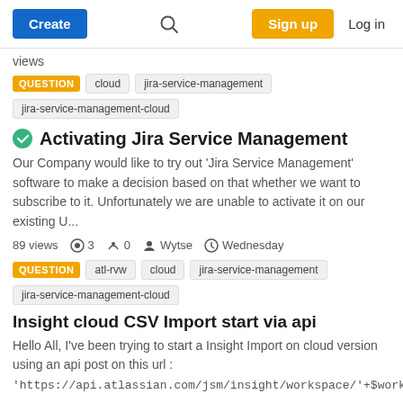Create | Search | Sign up | Log in
views
QUESTION  cloud  jira-service-management  jira-service-management-cloud
Activating Jira Service Management
Our Company would like to try out 'Jira Service Management' software to make a decision based on that whether we want to subscribe to it. Unfortunately we are unable to activate it on our existing U...
89 views  3  0  Wytse  Wednesday
QUESTION  atl-rvw  cloud  jira-service-management  jira-service-management-cloud
Insight cloud CSV Import start via api
Hello All, I've been trying to start a Insight Import on cloud version using an api post on this url : 'https://api.atlassian.com/jsm/insight/workspace/'+$workspaceid+'/'